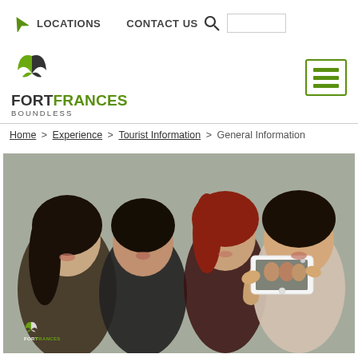LOCATIONS   CONTACT US   [search box]
[Figure (logo): Fort Frances Boundless logo with green and dark X/bird mark above text FORTFRANCES BOUNDLESS]
Home > Experience > Tourist Information > General Information
[Figure (photo): Four young women taking a selfie with a white smartphone outdoors, with Fort Frances Boundless logo watermark in lower left corner]